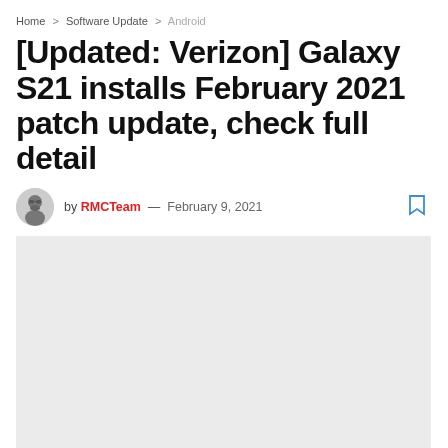Home > Software Update > Android
[Updated: Verizon] Galaxy S21 installs February 2021 patch update, check full detail
by RMCTeam — February 9, 2021
[Figure (photo): Featured image placeholder — light gray rectangle representing a Galaxy S21 Series article hero image. Caption reads: Galaxy S21 Series]